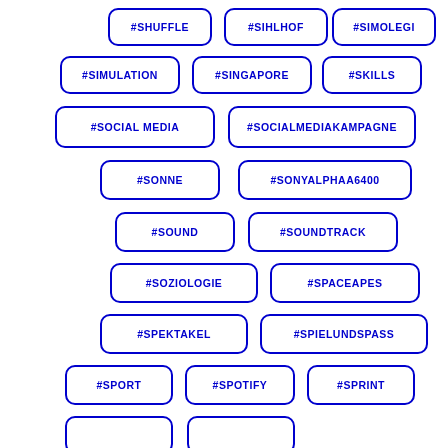#SHUFFLE
#SIHLHOF
#SIMOLEGI
#SIMULATION
#SINGAPORE
#SKILLS
#SOCIAL MEDIA
#SOCIALMEDIAKAMPAGNE
#SONNE
#SONYALPHAA6400
#SOUND
#SOUNDTRACK
#SOZIOLOGIE
#SPACEAPES
#SPEKTAKEL
#SPIELUNDSPASS
#SPORT
#SPOTIFY
#SPRINT